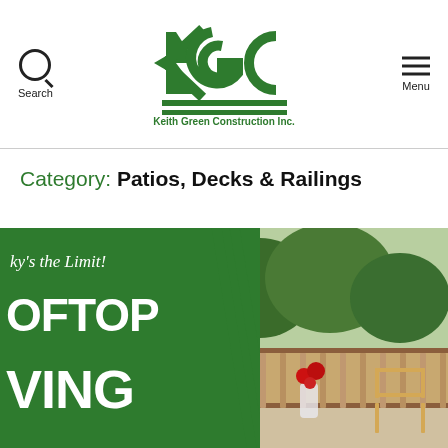[Figure (logo): KGC Keith Green Construction Inc. logo in dark green]
Category: Patios, Decks & Railings
[Figure (photo): Rooftop living article promotional image with green panel showing partial text 'ky's the Limit! OFTOP VING' in white on dark green background, with a photo of a rooftop patio with red roses and wooden furniture. A 'Get a Quote' tab is on the right side.]